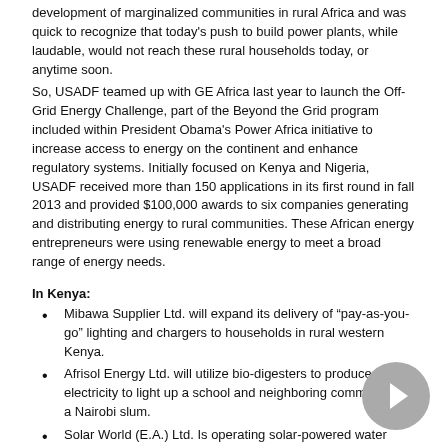development of marginalized communities in rural Africa and was quick to recognize that today's push to build power plants, while laudable, would not reach these rural households today, or anytime soon.
So, USADF teamed up with GE Africa last year to launch the Off-Grid Energy Challenge, part of the Beyond the Grid program included within President Obama's Power Africa initiative to increase access to energy on the continent and enhance regulatory systems. Initially focused on Kenya and Nigeria, USADF received more than 150 applications in its first round in fall 2013 and provided $100,000 awards to six companies generating and distributing energy to rural communities. These African energy entrepreneurs were using renewable energy to meet a broad range of energy needs.
In Kenya:
Mibawa Supplier Ltd. will expand its delivery of “pay-as-you-go” lighting and chargers to households in rural western Kenya.
Afrisol Energy Ltd. will utilize bio-digesters to produce electricity to light up a school and neighboring community in a Nairobi slum.
Solar World (E.A.) Ltd. Is operating solar-powered water points for pastoralists to support the needs of livestock and communities in Kenya’s semi-arid north.
In Nigeria:
Transafrican Gas and Electric will power stand-alone cold storage facilities using solar photovoltaic systems for farmers and fisherman in Jos, Nigeria.
GVE Products Ltd. will electrify 24 off-grid communities using metered